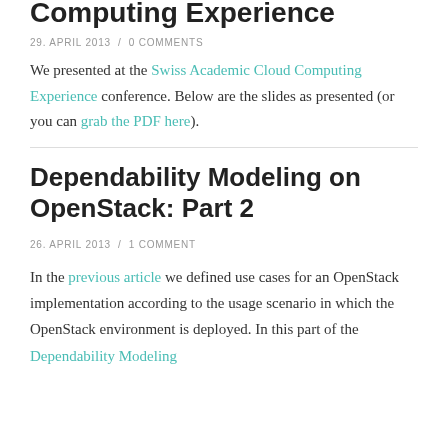Computing Experience
29. APRIL 2013  /  0 COMMENTS
We presented at the Swiss Academic Cloud Computing Experience conference. Below are the slides as presented (or you can grab the PDF here).
Dependability Modeling on OpenStack: Part 2
26. APRIL 2013  /  1 COMMENT
In the previous article we defined use cases for an OpenStack implementation according to the usage scenario in which the OpenStack environment is deployed. In this part of the Dependability Modeling